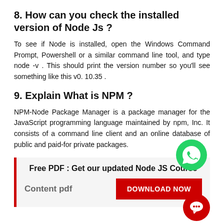8. How can you check the installed version of Node Js ?
To see if Node is installed, open the Windows Command Prompt, Powershell or a similar command line tool, and type node -v . This should print the version number so you'll see something like this v0. 10.35 .
9. Explain What is NPM ?
NPM-Node Package Manager is a package manager for the JavaScript programming language maintained by npm, Inc. It consists of a command line client and an online database of public and paid-for private packages.
[Figure (infographic): Promotional banner with red left border on light gray background. Text reads 'Free PDF : Get our updated Node JS Course Content pdf' with a red DOWNLOAD NOW button. A WhatsApp icon appears in the top right corner and a chat bubble icon in the bottom right.]
10. Explain Modules in Node Js ?